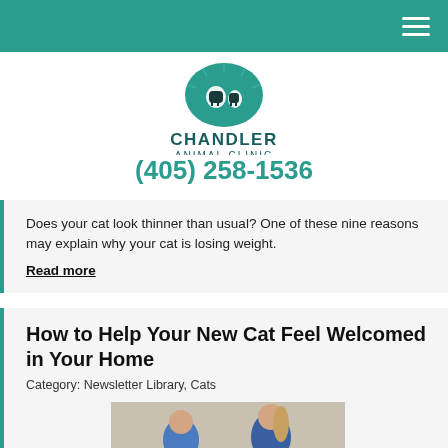[Figure (logo): Chandler Animal Clinic LLC logo with teal circular badge showing farm animals, teal top navigation bar with hamburger menu icon]
(405) 258-1536
Does your cat look thinner than usual? One of these nine reasons may explain why your cat is losing weight. Read more
How to Help Your New Cat Feel Welcomed in Your Home
Category: Newsletter Library, Cats
[Figure (photo): Photo of a boy and woman sitting on a couch, appearing stressed or concerned]
Accessibility View ×